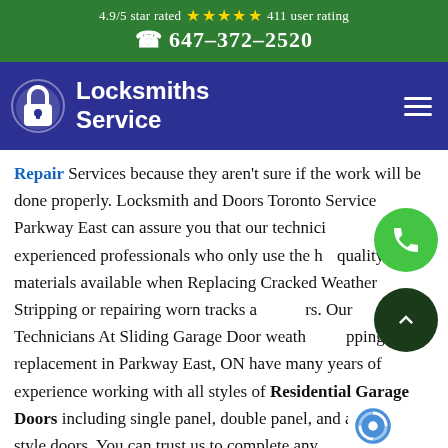4.9/5 star rated ★★★★★ 411 user rating
☎ 647-372-2520
[Figure (logo): Locksmiths Service logo with padlock icon on navy background, hamburger menu icon on right]
Repair Services because they aren't sure if the work will be done properly. Locksmith and Doors Toronto Service Parkway East can assure you that our technicians are experienced professionals who only use the highest quality materials available when Replacing Cracked Weather Stripping or repairing worn tracks and rollers. Our Technicians At Sliding Garage Door weather stripping replacement in Parkway East, ON have many years of experience working with all styles of Residential Garage Doors including single panel, double panel, and accordion-style doors. You can trust us to complete any